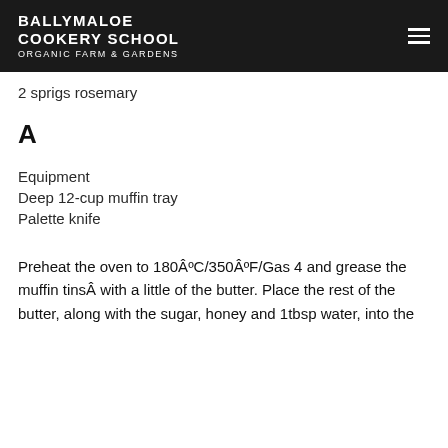BALLYMALOE COOKERY SCHOOL ORGANIC FARM & GARDENS
2 sprigs rosemary
A
Equipment
Deep 12-cup muffin tray
Palette knife
Preheat the oven to 180ÂºC/350ÂºF/Gas 4 and grease the muffin tinsÂ with a little of the butter. Place the rest of the butter, along with the sugar, honey and 1tbsp water, into the